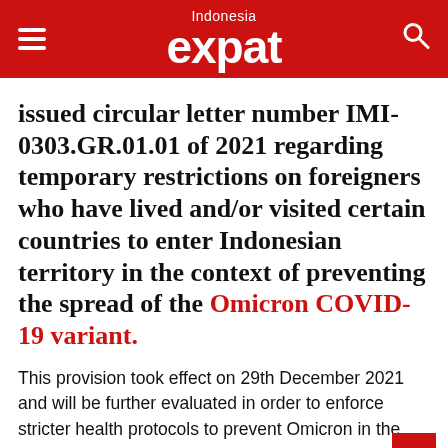Indonesia expat
issued circular letter number IMI-0303.GR.01.01 of 2021 regarding temporary restrictions on foreigners who have lived and/or visited certain countries to enter Indonesian territory in the context of preventing the spread of the Omicron COVID-19 variant.
This provision took effect on 29th December 2021 and will be further evaluated in order to enforce stricter health protocols to prevent Omicron in the country.
In the circular, it says that foreigners who